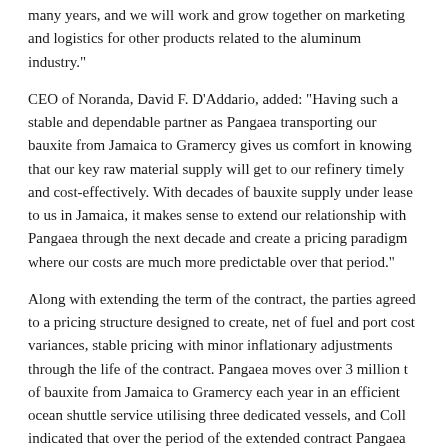many years, and we will work and grow together on marketing and logistics for other products related to the aluminum industry."
CEO of Noranda, David F. D'Addario, added: "Having such a stable and dependable partner as Pangaea transporting our bauxite from Jamaica to Gramercy gives us comfort in knowing that our key raw material supply will get to our refinery timely and cost-effectively. With decades of bauxite supply under lease to us in Jamaica, it makes sense to extend our relationship with Pangaea through the next decade and create a pricing paradigm where our costs are much more predictable over that period."
Along with extending the term of the contract, the parties agreed to a pricing structure designed to create, net of fuel and port cost variances, stable pricing with minor inflationary adjustments through the life of the contract. Pangaea moves over 3 million t of bauxite from Jamaica to Gramercy each year in an efficient ocean shuttle service utilising three dedicated vessels, and Coll indicated that over the period of the extended contract Pangaea will move over 40 million t of cargo for Noranda.
[Figure (other): Orange 'Save to read list' button with bookmark icon]
[Figure (photo): Benetech, Inc. advertisement banner with 'PORTABLE' text in orange on dark navy background]